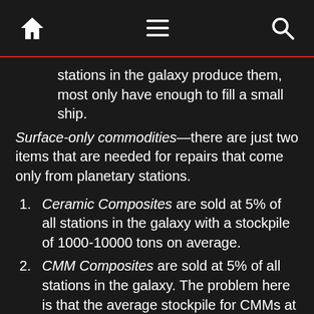[navigation bar with home, menu, and search icons]
stations in the galaxy produce them, most only have enough to fill a small ship.
Surface-only commodities—there are just two items that are needed for repairs that come only from planetary stations.
Ceramic Composites are sold at 5% of all stations in the galaxy with a stockpile of 1000-10000 tons on average.
CMM Composites are sold at 5% of all stations in the galaxy. The problem here is that the average stockpile for CMMs at stations is one ton.